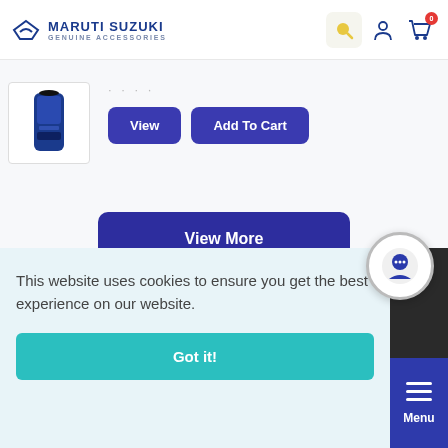[Figure (logo): Maruti Suzuki Genuine Accessories logo with S symbol and text]
[Figure (screenshot): Product image - dark cylindrical product (appears to be car care product)]
View
Add To Cart
View More
Terms and conditions
This website uses cookies to ensure you get the best experience on our website.
Got it!
Menu